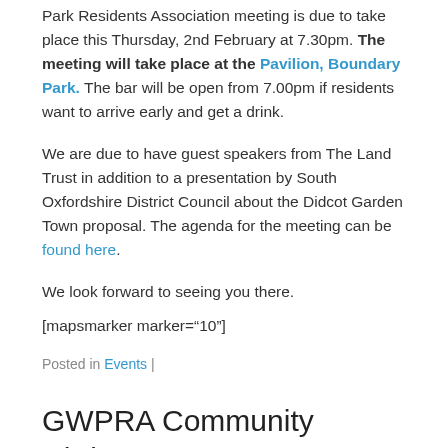Park Residents Association meeting is due to take place this Thursday, 2nd February at 7.30pm. The meeting will take place at the Pavilion, Boundary Park. The bar will be open from 7.00pm if residents want to arrive early and get a drink.
We are due to have guest speakers from The Land Trust in addition to a presentation by South Oxfordshire District Council about the Didcot Garden Town proposal. The agenda for the meeting can be found here.
We look forward to seeing you there.
[mapsmarker marker="10"]
Posted in Events |
GWPRA Community Christmas Event 2016